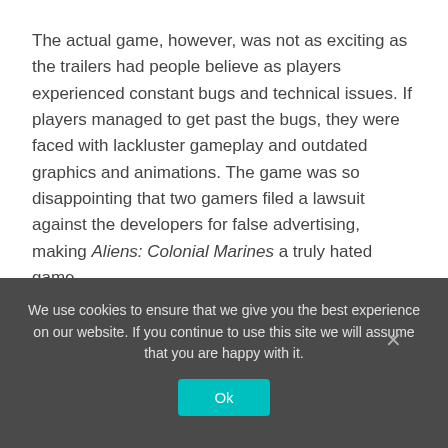The actual game, however, was not as exciting as the trailers had people believe as players experienced constant bugs and technical issues. If players managed to get past the bugs, they were faced with lackluster gameplay and outdated graphics and animations. The game was so disappointing that two gamers filed a lawsuit against the developers for false advertising, making Aliens: Colonial Marines a truly hated game.
Cyberpunk 2077 (2020)
We use cookies to ensure that we give you the best experience on our website. If you continue to use this site we will assume that you are happy with it.